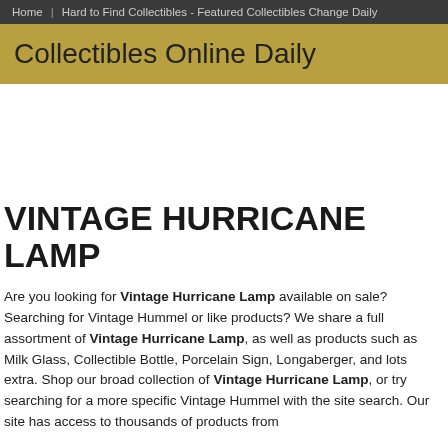Home | Hard to Find Collectibles - Featured Collectibles Change Daily
Collectibles Online Daily
VINTAGE HURRICANE LAMP
Are you looking for Vintage Hurricane Lamp available on sale? Searching for Vintage Hummel or like products? We share a full assortment of Vintage Hurricane Lamp, as well as products such as Milk Glass, Collectible Bottle, Porcelain Sign, Longaberger, and lots extra. Shop our broad collection of Vintage Hurricane Lamp, or try searching for a more specific Vintage Hummel with the site search. Our site has access to thousands of products from